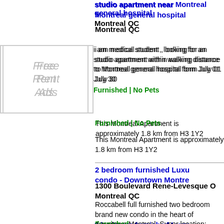studio apartment near Montreal general hospital
Montreal QC
[Figure (other): Placeholder image box with text 'Free Rent Ads']
i am medical student , looking for an studio apartment within walking distance to Montreal general hospital form July 01 July 30
Furnished | No Pets
This Montreal Apartment is approximately 1.8 km from H3 1Y2
2 bedroom furnished Luxu condo - Downtown Montre
1300 Boulevard Rene-Levesque O Montreal QC
Roccabell full furnished two bedroom brand new condo in the heart of downtown Montreal. Super location: - Close to Metro & bus station: Metro ( Peel, Guy – Concordia, Bonaventure and Lucien-Alle, Center train station, airport shutter bus 747 stop. - Close entertainment/shopping cente Bell Center, La 1000 ( skating Eaton Centre, Place Ville Mar La Maison Ogilvy; Under...
[Figure (other): Placeholder image box with text 'Free Rent Ads']
Furnished